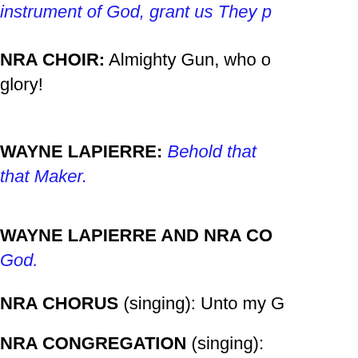instrument of God, grant us They p…
NRA CHOIR: Almighty Gun, who o… glory!
WAYNE LAPIERRE: Behold that … that Maker.
WAYNE LAPIERRE AND NRA CO… God.
NRA CHORUS (singing): Unto my G…
NRA CONGREGATION (singing):
All guns bright and be…
The good G…
He takes out eyes to see with, a… Almighty, who ha…
WAYNE LAPIERRE: May the Bles…